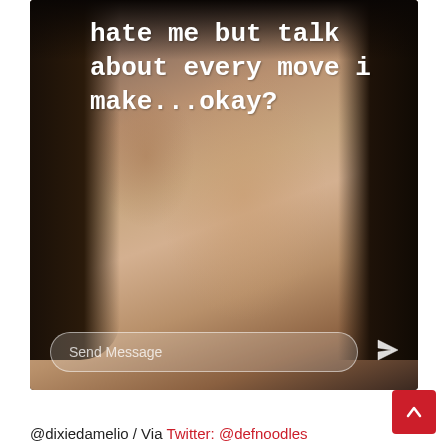[Figure (screenshot): Instagram story screenshot showing a close-up photo of a young woman with freckles and dark hair. Overlay text reads: 'hate me but talk about every move i make...okay?' with a Send Message input bar at the bottom.]
@dixiedamelio / Via Twitter: @defnoodles